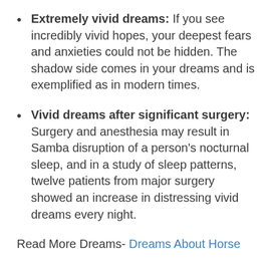Extremely vivid dreams: If you see incredibly vivid hopes, your deepest fears and anxieties could not be hidden. The shadow side comes in your dreams and is exemplified as in modern times.
Vivid dreams after significant surgery: Surgery and anesthesia may result in Samba disruption of a person's nocturnal sleep, and in a study of sleep patterns, twelve patients from major surgery showed an increase in distressing vivid dreams every night.
Read More Dreams- Dreams About Horse